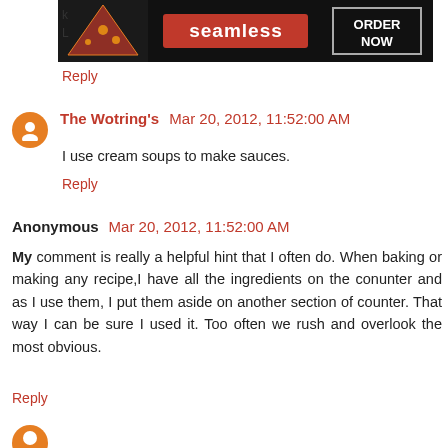[Figure (other): Seamless food delivery advertisement banner with pizza image, Seamless logo, and ORDER NOW button]
Reply
The Wotring's  Mar 20, 2012, 11:52:00 AM
I use cream soups to make sauces.
Reply
Anonymous  Mar 20, 2012, 11:52:00 AM
My comment is really a helpful hint that I often do. When baking or making any recipe,I have all the ingredients on the conunter and as I use them, I put them aside on another section of counter. That way I can be sure I used it. Too often we rush and overlook the most obvious.
Reply